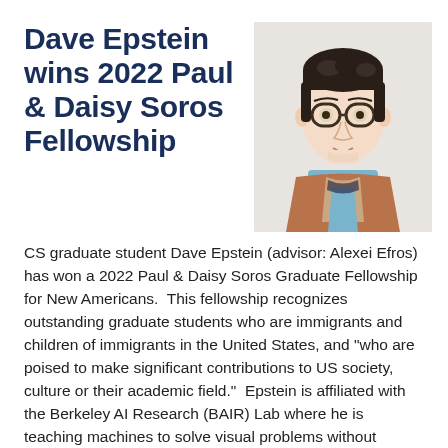Dave Epstein wins 2022 Paul & Daisy Soros Fellowship
[Figure (photo): Headshot of Dave Epstein, a young man with round glasses, wearing a brown knit sweater over a light blue shirt, against a white background.]
CS graduate student Dave Epstein (advisor: Alexei Efros) has won a 2022 Paul & Daisy Soros Graduate Fellowship for New Americans.  This fellowship recognizes outstanding graduate students who are immigrants and children of immigrants in the United States, and "who are poised to make significant contributions to US society, culture or their academic field."  Epstein is affiliated with the Berkeley AI Research (BAIR) Lab where he is teaching machines to solve visual problems without labels, and enabling a creative understanding of the real world to emerge. He is also interested in language, machine learning, synthesis, and interaction. Paul & Daisy Fellowships come with a $90K award.